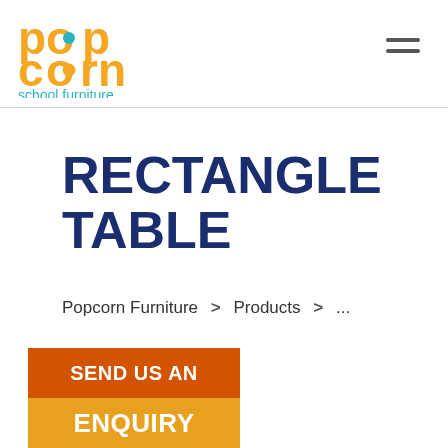Popcorn school.furniture
RECTANGLE TABLE
Popcorn Furniture > Products > ...
SEND US AN ENQUIRY